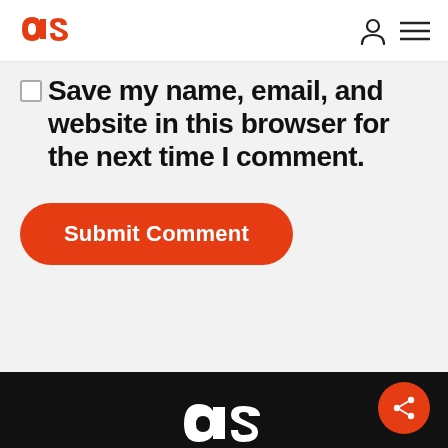[Figure (logo): Red stylized 'as' logo mark in top left navigation bar]
Save my name, email, and website in this browser for the next time I comment.
Submit Comment
[Figure (logo): White stylized 'as' logo mark on black footer background]
[Figure (other): Orange circular share button with share icon in bottom right corner]